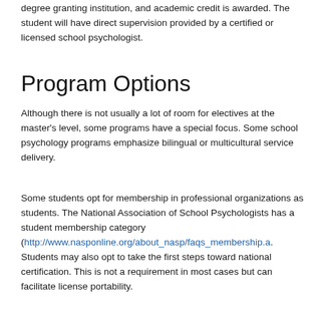degree granting institution, and academic credit is awarded. The student will have direct supervision provided by a certified or licensed school psychologist.
Program Options
Although there is not usually a lot of room for electives at the master's level, some programs have a special focus. Some school psychology programs emphasize bilingual or multicultural service delivery.
Some students opt for membership in professional organizations as students. The National Association of School Psychologists has a student membership category (http://www.nasponline.org/about_nasp/faqs_membership.a. Students may also opt to take the first steps toward national certification. This is not a requirement in most cases but can facilitate license portability.